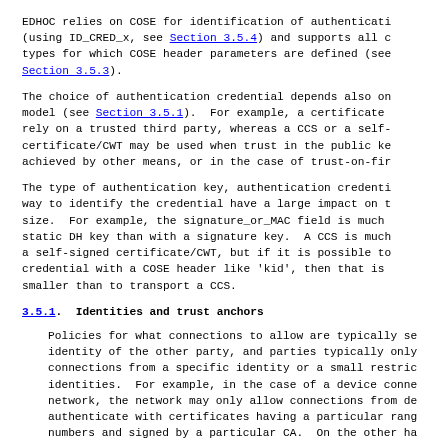EDHOC relies on COSE for identification of authentication (using ID_CRED_x, see Section 3.5.4) and supports all c types for which COSE header parameters are defined (see Section 3.5.3).
The choice of authentication credential depends also on model (see Section 3.5.1).  For example, a certificate rely on a trusted third party, whereas a CCS or a self- certificate/CWT may be used when trust in the public ke achieved by other means, or in the case of trust-on-fir
The type of authentication key, authentication credenti way to identify the credential have a large impact on t size.  For example, the signature_or_MAC field is much static DH key than with a signature key.  A CCS is much a self-signed certificate/CWT, but if it is possible to credential with a COSE header like 'kid', then that is smaller than to transport a CCS.
3.5.1.  Identities and trust anchors
Policies for what connections to allow are typically se identity of the other party, and parties typically only connections from a specific identity or a small restric identities.  For example, in the case of a device conne network, the network may only allow connections from de authenticate with certificates having a particular rang numbers and signed by a particular CA.  On the other ha